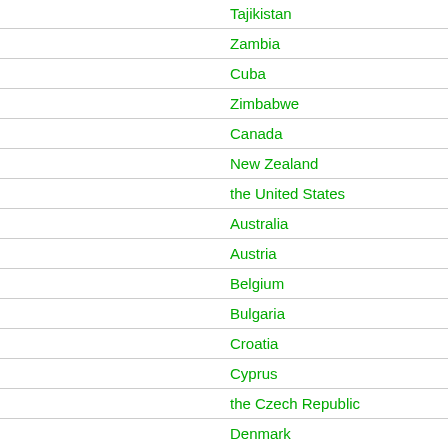Tajikistan
Zambia
Cuba
Zimbabwe
Canada
New Zealand
the United States
Australia
Austria
Belgium
Bulgaria
Croatia
Cyprus
the Czech Republic
Denmark